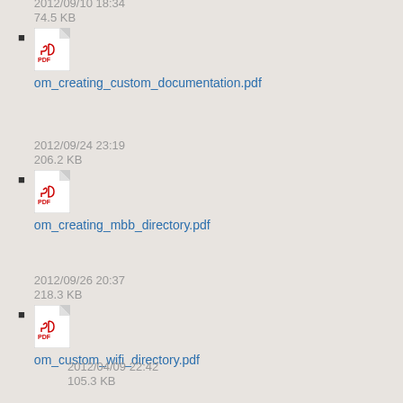om_creating_custom_documentation.pdf
2012/09/10 18:34
74.5 KB
om_creating_mbb_directory.pdf
2012/09/24 23:19
206.2 KB
om_custom_wifi_directory.pdf
2012/09/26 20:37
218.3 KB
2012/04/09 22:42
105.3 KB